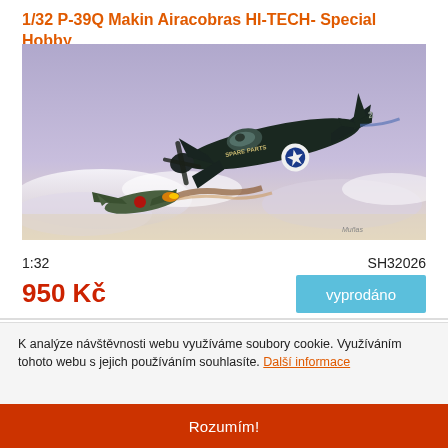1/32 P-39Q Makin Airacobras HI-TECH- Special Hobby
[Figure (illustration): Artwork illustration of a P-39Q Airacobra fighter aircraft ('Spare Parts') in dark green livery with US star insignia, banking in cloudy sky above a burning Japanese aircraft]
1:32
SH32026
950 Kč
vyprodáno
K analýze návštěvnosti webu využíváme soubory cookie. Využíváním tohoto webu s jejich používáním souhlasíte. Další informace
Rozumím!